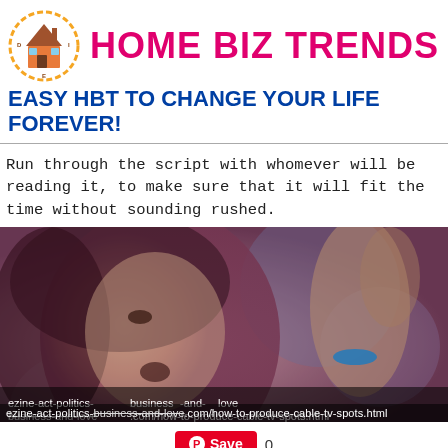HOME BIZ TRENDS
EASY HBT TO CHANGE YOUR LIFE FOREVER!
Run through the script with whomever will be reading it, to make sure that it will fit the time without sounding rushed.
[Figure (photo): Blurred close-up photo of a young woman looking upward with lights/disco background, with URL overlay: ezine-act-politics-business-and-love.com/how-to-produce-cable-tv-spots.html]
[Figure (other): Pinterest Save button with count 0]